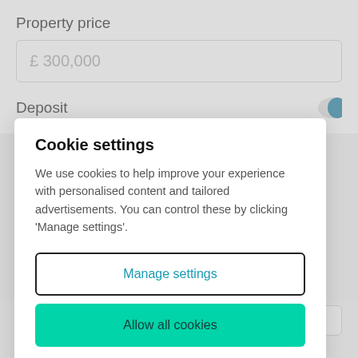Property price
£300,000
Deposit
Cookie settings
We use cookies to help improve your experience with personalised content and tailored advertisements. You can control these by clicking 'Manage settings'.
Manage settings
Allow all cookies
25  years